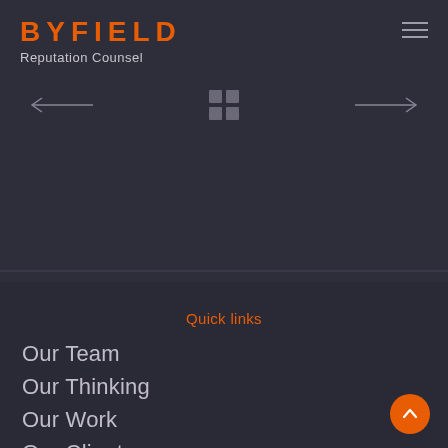[Figure (logo): Byfield Reputation Counsel logo with orange BYFIELD text and grey hamburger menu icon]
[Figure (other): Navigation row with left arrow, 2x2 grid icon, and right arrow]
Quick links
Our Team
Our Thinking
Our Work
Our Clients